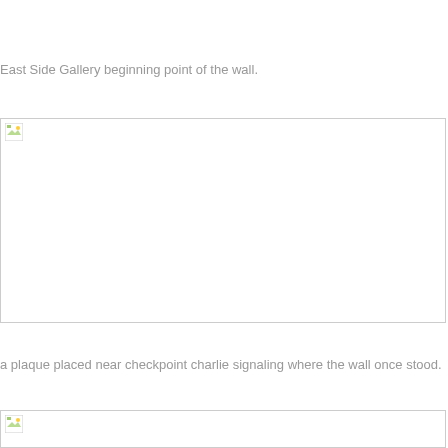East Side Gallery beginning point of the wall.
[Figure (photo): A photo placeholder (broken image icon) representing the East Side Gallery beginning point of the wall.]
a plaque placed near checkpoint charlie signaling where the wall once stood.
[Figure (photo): A photo placeholder (broken image icon) representing a plaque placed near checkpoint charlie.]